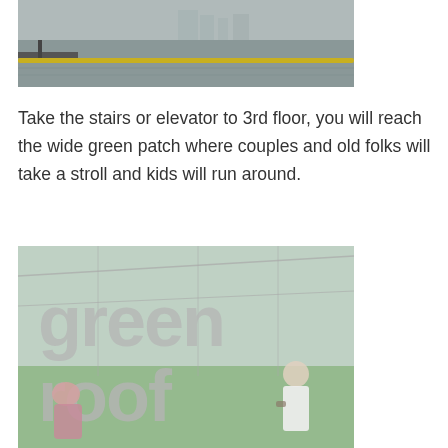[Figure (photo): Outdoor waterfront scene with yellow boom/barrier visible across grey water, city skyline in background, overcast sky.]
Take the stairs or elevator to 3rd floor, you will reach the wide green patch where couples and old folks will take a stroll and kids will run around.
[Figure (photo): Glass facade with large grey 'Green Roof' lettering. An elderly woman and a man with a bag are visible near the glass entrance. Green landscape visible through the glass.]